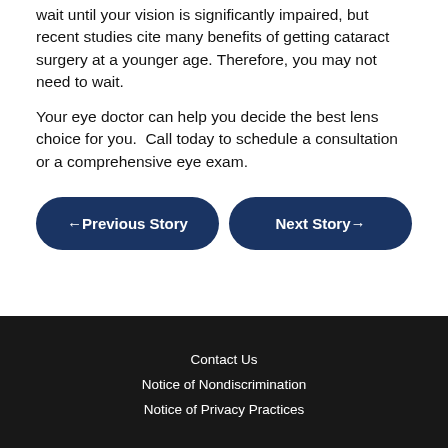wait until your vision is significantly impaired, but recent studies cite many benefits of getting cataract surgery at a younger age. Therefore, you may not need to wait.
Your eye doctor can help you decide the best lens choice for you.  Call today to schedule a consultation or a comprehensive eye exam.
← Previous Story
Next Story →
Contact Us
Notice of Nondiscrimination
Notice of Privacy Practices